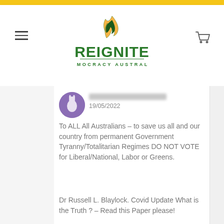Reignite Democracy Australia - website header with logo, hamburger menu, and cart icon
19/05/2022
To ALL All Australians – to save us all and our country from permanent Government Tyranny/Totalitarian Regimes DO NOT VOTE for Liberal/National, Labor or Greens.

Dr Russell L. Blaylock. Covid Update What is the Truth ? – Read this Paper please!